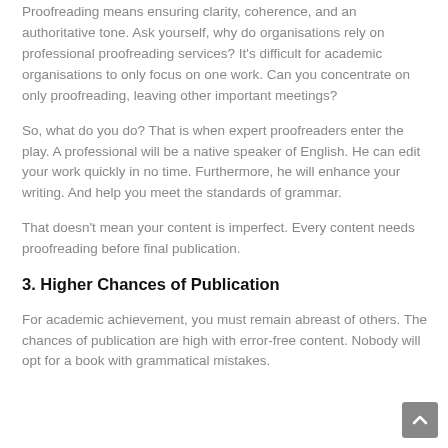Proofreading means ensuring clarity, coherence, and an authoritative tone. Ask yourself, why do organisations rely on professional proofreading services? It's difficult for academic organisations to only focus on one work. Can you concentrate on only proofreading, leaving other important meetings?
So, what do you do? That is when expert proofreaders enter the play. A professional will be a native speaker of English. He can edit your work quickly in no time. Furthermore, he will enhance your writing. And help you meet the standards of grammar.
That doesn't mean your content is imperfect. Every content needs proofreading before final publication.
3. Higher Chances of Publication
For academic achievement, you must remain abreast of others. The chances of publication are high with error-free content. Nobody will opt for a book with grammatical mistakes.